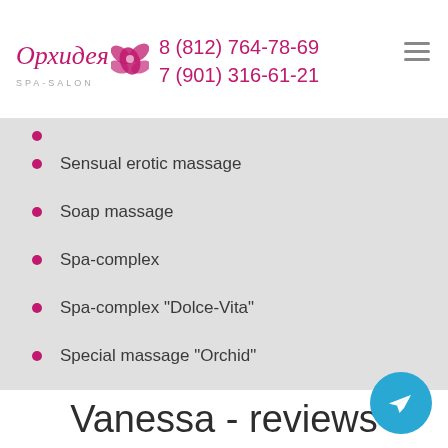Орхидея SPA-SALON | 8 (812) 764-78-69 | 7 (901) 316-61-21
Sensual erotic massage
Soap massage
Spa-complex
Spa-complex "Dolce-Vita"
Special massage "Orchid"
Vanessa - reviews
Don A
(Translated by Google) Thanks for the massage and interesting experience. I was pleasantly surprised by the...